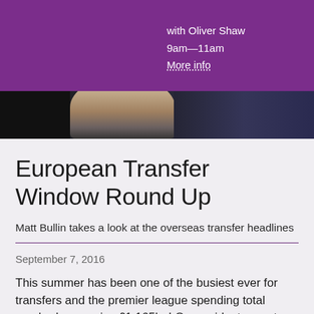with Oliver Shaw
9am—11am
More info
[Figure (photo): Photo strip showing a person's face/head against a dark background]
European Transfer Window Round Up
Matt Bullin takes a look at the overseas transfer headlines
September 7, 2016
This summer has been one of the busiest ever for transfers and the premier league spending total reached a massive £1.165bn! Our resident expert Matt Bullin takes a look at the biggest moves across the E...